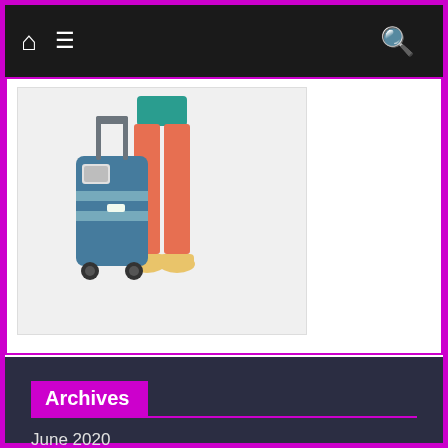Navigation bar with home, menu, and search icons
[Figure (illustration): Lower half of a person in orange pants and yellow shoes, standing next to a large blue rolling suitcase. Flat design illustration on a light grey card background.]
Archives
June 2020
May 2020
April 2020